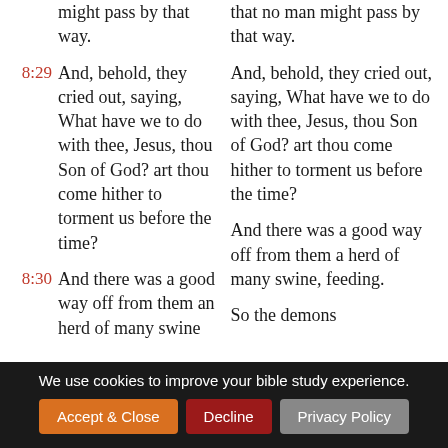might pass by that way.
that no man might pass by that way.
8:29 And, behold, they cried out, saying, What have we to do with thee, Jesus, thou Son of God? art thou come hither to torment us before the time?
And, behold, they cried out, saying, What have we to do with thee, Jesus, thou Son of God? art thou come hither to torment us before the time?
8:30 And there was a good way off from them an herd of many swine feeding.
And there was a good way off from them a herd of many swine, feeding.
8:31 So the devils
So the demons
We use cookies to improve your bible study experience.